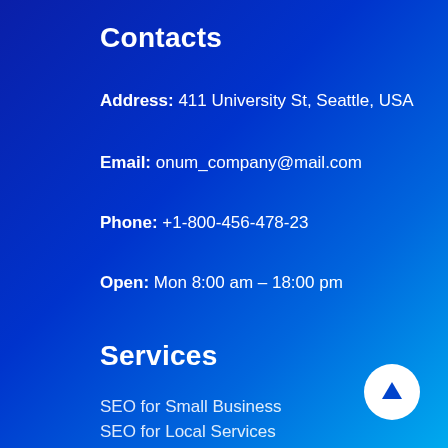Contacts
Address: 411 University St, Seattle, USA
Email: onum_company@mail.com
Phone: +1-800-456-478-23
Open: Mon 8:00 am – 18:00 pm
Services
SEO for Small Business
SEO for Local Services
Enterprise SEO